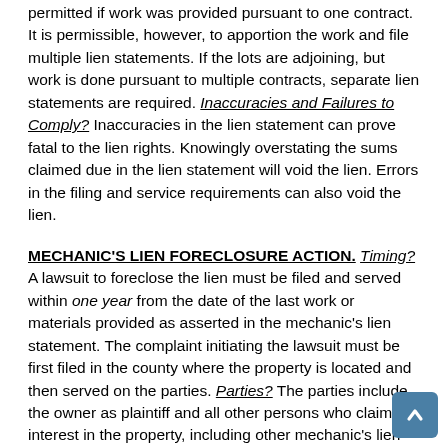permitted if work was provided pursuant to one contract. It is permissible, however, to apportion the work and file multiple lien statements. If the lots are adjoining, but work is done pursuant to multiple contracts, separate lien statements are required. Inaccuracies and Failures to Comply? Inaccuracies in the lien statement can prove fatal to the lien rights. Knowingly overstating the sums claimed due in the lien statement will void the lien. Errors in the filing and service requirements can also void the lien.
MECHANIC'S LIEN FORECLOSURE ACTION. Timing? A lawsuit to foreclose the lien must be filed and served within one year from the date of the last work or materials provided as asserted in the mechanic's lien statement. The complaint initiating the lawsuit must be first filed in the county where the property is located and then served on the parties. Parties? The parties include the owner as plaintiff and all other persons who claim an interest in the property, including other mechanic's lien claimants, mortgagees, judgment lien holders, etc. Related Claims? In addition to the underlying foreclosure action, the complaint may include related claims such as breach of contract, account stated, quantum meruit, or misrepresentation. Common Defenses? (1) Failure to provide pre-lien notice; (2) Failure to timely file and serve the lien statement; (3) Failure to timely initiate the foreclosure action; (4)